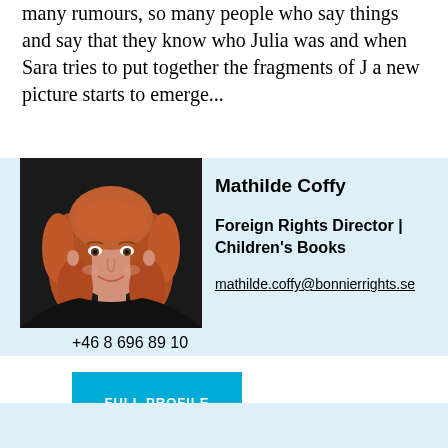many rumours, so many people who say things and say that they know who Julia was and when Sara tries to put together the fragments of J a new picture starts to emerge...
[Figure (photo): Portrait photo of Mathilde Coffy, a woman with curly red hair, wearing a dark top against a dark background]
Mathilde Coffy
Foreign Rights Director | Children's Books
mathilde.coffy@bonnierrights.se
+46 8 696 89 10
FULL PROFILE